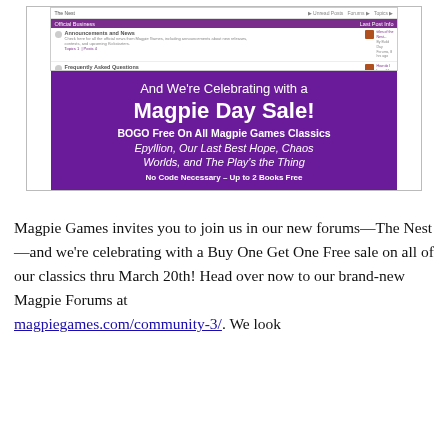[Figure (screenshot): Screenshot of The Nest forum with purple header sections showing Announcements and News, Frequently Asked Questions, and Our Games. Below the screenshot is a purple promotional banner reading: And We're Celebrating with a Magpie Day Sale! BOGO Free On All Magpie Games Classics — Epyllion, Our Last Best Hope, Chaos Worlds, and The Play's the Thing. No Code Necessary – Up to 2 Books Free.]
Magpie Games invites you to join us in our new forums—The Nest—and we're celebrating with a Buy One Get One Free sale on all of our classics thru March 20th! Head over now to our brand-new Magpie Forums at magpiegames.com/community-3/. We look